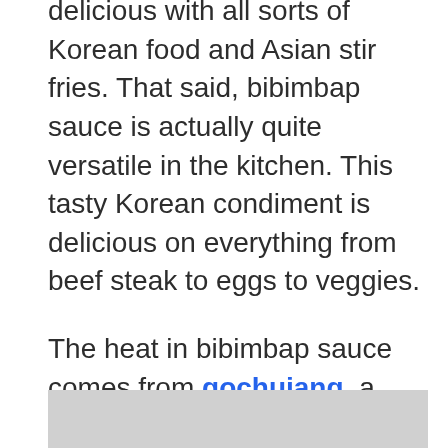delicious with all sorts of Korean food and Asian stir fries. That said, bibimbap sauce is actually quite versatile in the kitchen. This tasty Korean condiment is delicious on everything from beef steak to eggs to veggies.
The heat in bibimbap sauce comes from gochujang, a spicy chili paste with earthy and pungent undertones. It's the primary ingredient in bibimbap sauce, so those flavors shine through with other exotic flavors like sesame oil and soy sauce.
[Figure (photo): Partial image visible at the bottom of the page, gray/light background]